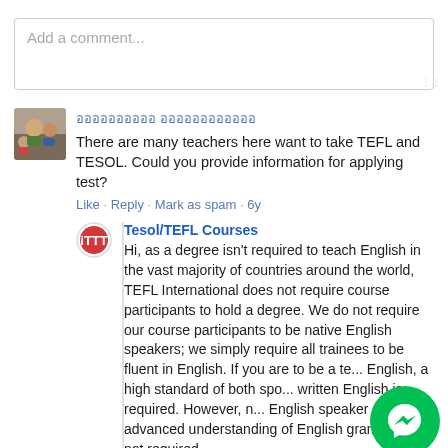Add a comment...
ออออออออออ ออออออออออออ
There are many teachers here want to take TEFL and TESOL. Could you provide information for applying test?
Like · Reply · Mark as spam · 6y
Tesol/TEFL Courses
Hi, as a degree isn't required to teach English in the vast majority of countries around the world, TEFL International does not require course participants to hold a degree. We do not require our course participants to be native English speakers; we simply require all trainees to be fluent in English. If you are to be a te... English, a high standard of both spo... written English is required. However, n... English speaker or not, an advanced understanding of English grammar is not required,